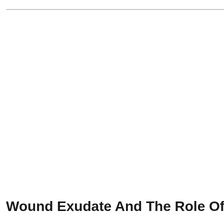Wound Exudate And The Role Of Dress